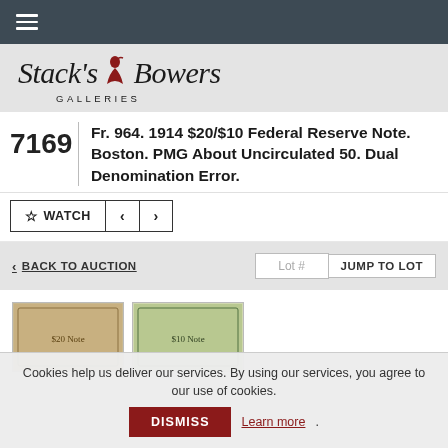Stack's Bowers Galleries — navigation bar
[Figure (logo): Stack's Bowers Galleries logo with stylized italic script text and red bird emblem]
Fr. 964. 1914 $20/$10 Federal Reserve Note. Boston. PMG About Uncirculated 50. Dual Denomination Error.
7169
WATCH
BACK TO AUCTION
Lot #
JUMP TO LOT
[Figure (photo): Thumbnail images of the 1914 Federal Reserve Note front and back]
Cookies help us deliver our services. By using our services, you agree to our use of cookies. DISMISS Learn more.